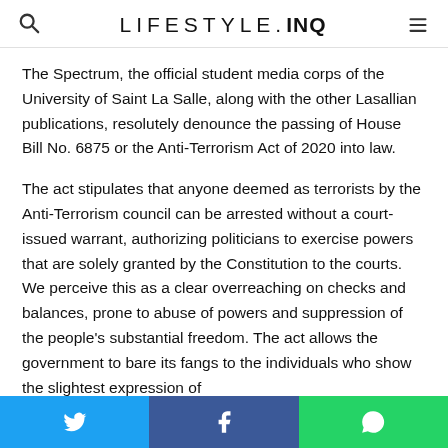LIFESTYLE.INQ
The Spectrum, the official student media corps of the University of Saint La Salle, along with the other Lasallian publications, resolutely denounce the passing of House Bill No. 6875 or the Anti-Terrorism Act of 2020 into law.
The act stipulates that anyone deemed as terrorists by the Anti-Terrorism council can be arrested without a court-issued warrant, authorizing politicians to exercise powers that are solely granted by the Constitution to the courts. We perceive this as a clear overreaching on checks and balances, prone to abuse of powers and suppression of the people's substantial freedom. The act allows the government to bare its fangs to the individuals who show the slightest expression of